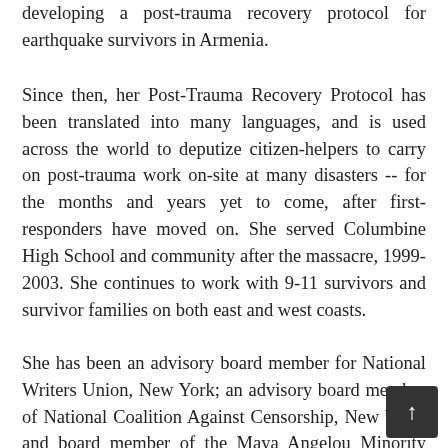developing a post-trauma recovery protocol for earthquake survivors in Armenia.
Since then, her Post-Trauma Recovery Protocol has been translated into many languages, and is used across the world to deputize citizen-helpers to carry on post-trauma work on-site at many disasters -- for the months and years yet to come, after first-responders have moved on. She served Columbine High School and community after the massacre, 1999-2003. She continues to work with 9-11 survivors and survivor families on both east and west coasts.
She has been an advisory board member for National Writers Union, New York; an advisory board member of National Coalition Against Censorship, New York; and board member of the Maya Angelou Minority Health